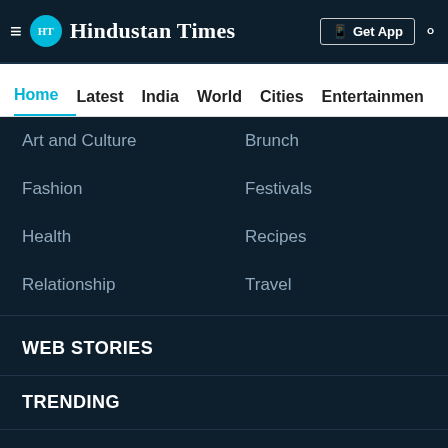≡ HT Hindustan Times | Get App 🔍
Home | Latest | India | World | Cities | Entertainment
Art and Culture
Brunch
Fashion
Festivals
Health
Recipes
Relationship
Travel
WEB STORIES
TRENDING
BUSINESS
PHOTOS
VIDEOS